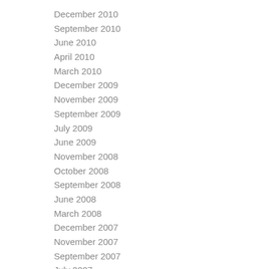December 2010
September 2010
June 2010
April 2010
March 2010
December 2009
November 2009
September 2009
July 2009
June 2009
November 2008
October 2008
September 2008
June 2008
March 2008
December 2007
November 2007
September 2007
July 2007
June 2007